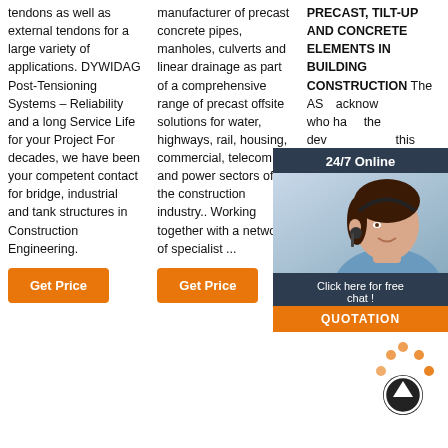tendons as well as external tendons for a large variety of applications. DYWIDAG Post-Tensioning Systems – Reliability and a long Service Life for your Project For decades, we have been your competent contact for bridge, industrial and tank structures in Construction Engineering.
Get Price
manufacturer of precast concrete pipes, manholes, culverts and linear drainage as part of a comprehensive range of precast offsite solutions for water, highways, rail, housing, commercial, telecom and power sectors of the construction industry.. Working together with a network of specialist ...
Get Price
PRECAST, TILT-UP AND CONCRETE ELEMENTS IN BUILDING CONSTRUCTION The ASC acknowledges who have the development this National Practice Tilt-up and Elements Construction including representatives Australian, State and Territory Governments as well as ...
[Figure (other): 24/7 Online chat overlay with a woman wearing a headset, and a QUOTATION button in orange]
Get Price
[Figure (other): Orange dotted upload/share icon with a circular arrow button]